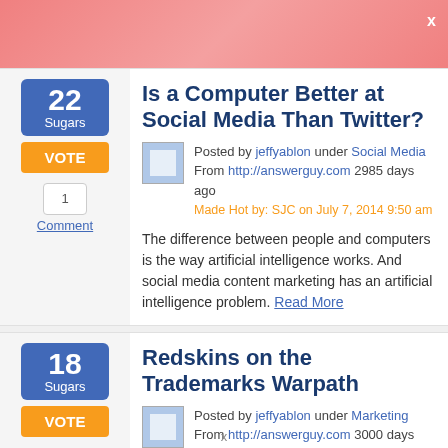Is a Computer Better at Social Media Than Twitter?
Posted by jeffyablon under Social Media From http://answerguy.com 2985 days ago Made Hot by: SJC on July 7, 2014 9:50 am
The difference between people and computers is the way artificial intelligence works. And social media content marketing has an artificial intelligence problem. Read More
Redskins on the Trademarks Warpath
Posted by jeffyablon under Marketing From http://answerguy.com 3000 days ago Made Hot by: MasterMinuteman on June 27, 2014 12:33 am
x